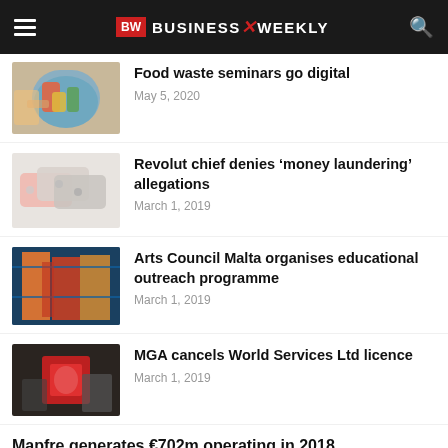BW BUSINESS WEEKLY
Food waste seminars go digital
May 5, 2020
[Figure (photo): Hand scraping food waste into a bowl]
Revolut chief denies ‘money laundering’ allegations
March 1, 2019
[Figure (photo): Pink and grey credit cards on white background]
Arts Council Malta organises educational outreach programme
March 1, 2019
[Figure (photo): Colorful abstract painting with figures]
MGA cancels World Services Ltd licence
March 1, 2019
[Figure (photo): Person holding playing cards]
Mapfre generates €702m operating in 2018,